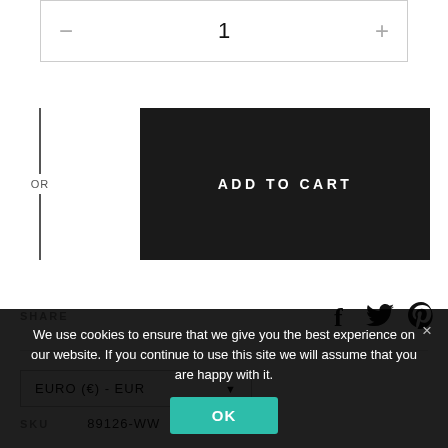[Figure (screenshot): Quantity selector row with minus button, number 1, and plus button inside a bordered box]
OR
ADD TO CART
SHARE
EURO (€) - EUR
SKU  89126-WW
We use cookies to ensure that we give you the best experience on our website. If you continue to use this site we will assume that you are happy with it.
OK